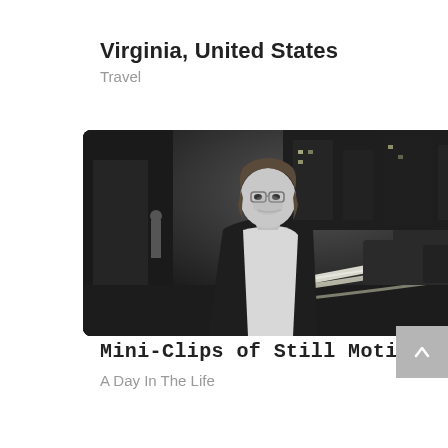Virginia, United States
Travel
[Figure (photo): Black and white photo of a man with glasses and medium-length hair wearing a dark blazer and white shirt, standing on a city street at night with light trails from passing cars in the background and a pedestrian visible in the distance.]
Mini-Clips of Still Motion
A Day In The Life